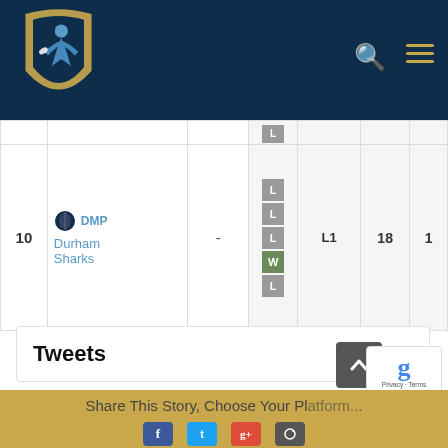[Figure (logo): DMP Durham Sharks rugby club logo with shield and player figure in blue and gold, on dark navy header bar with search and menu icons]
| # | Team | Score | Form | League | Pts | Last |
| --- | --- | --- | --- | --- | --- | --- |
| 10 | DMP Durham Sharks | - | L L L W L | L1 | 18 | 1 |
Tweets
Share This Story, Choose Your Platform